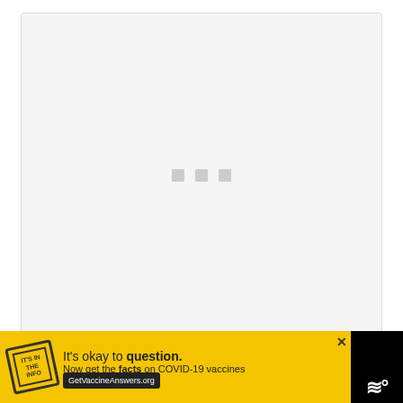[Figure (screenshot): Loading screen with light gray background and three small gray squares arranged horizontally in the center, resembling a loading indicator]
Once computer completely reboots,
[Figure (infographic): Yellow advertisement banner reading 'It's okay to question. Now get the facts on COVID-19 vaccines' with GetVaccineAnswers.org button, stamp graphic, and close X button]